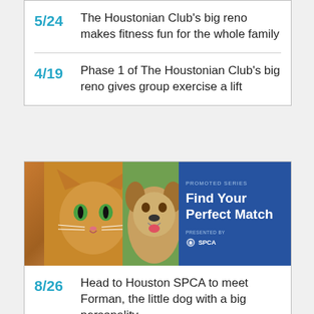5/24 The Houstonian Club's big reno makes fitness fun for the whole family
4/19 Phase 1 of The Houstonian Club's big reno gives group exercise a lift
[Figure (photo): Promoted series banner showing a cat and dog with blue background. Text reads PROMOTED SERIES, Find Your Perfect Match, PRESENTED BY SPCA]
8/26 Head to Houston SPCA to meet Forman, the little dog with a big personality
8/24 Goodies + good boys and girls abound at Houston SPCA's Clear the Shelters event